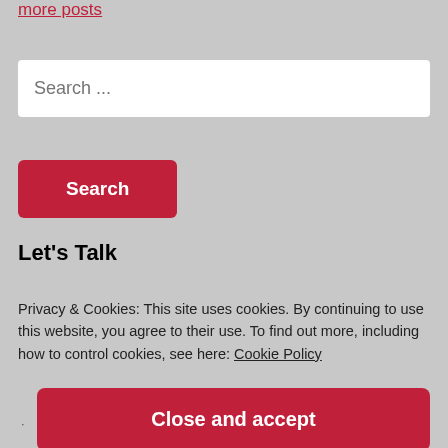more posts
Search ...
Search
Let's Talk
Privacy & Cookies: This site uses cookies. By continuing to use this website, you agree to their use. To find out more, including how to control cookies, see here: Cookie Policy
Close and accept